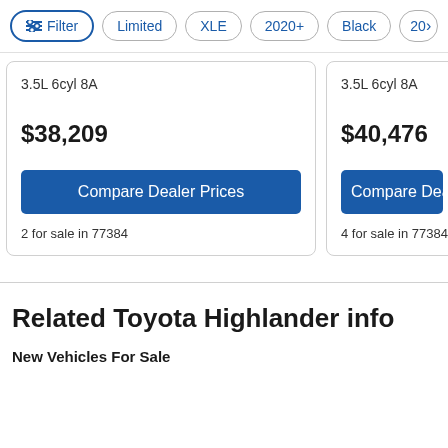Filter | Limited | XLE | 2020+ | Black | 20>
3.5L 6cyl 8A
$38,209
Compare Dealer Prices
2 for sale in 77384
3.5L 6cyl 8A
$40,476
Compare Dea...
4 for sale in 77384
Related Toyota Highlander info
New Vehicles For Sale